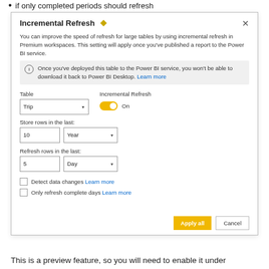if only completed periods should refresh
[Figure (screenshot): Incremental Refresh dialog box from Power BI showing settings for table 'Trip' with incremental refresh ON, store rows in the last 10 Year, refresh rows in the last 5 Day, checkboxes for 'Detect data changes' and 'Only refresh complete days', and Apply all / Cancel buttons.]
This is a preview feature, so you will need to enable it under